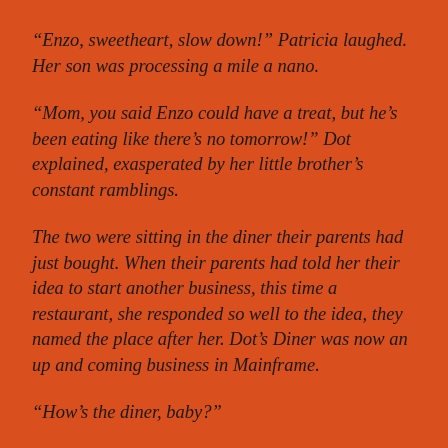“Enzo, sweetheart, slow down!” Patricia laughed. Her son was processing a mile a nano.
“Mom, you said Enzo could have a treat, but he’s been eating like there’s no tomorrow!” Dot explained, exasperated by her little brother’s constant ramblings.
The two were sitting in the diner their parents had just bought. When their parents had told her their idea to start another business, this time a restaurant, she responded so well to the idea, they named the place after her. Dot’s Diner was now an up and coming business in Mainframe.
“How’s the diner, baby?”
“It’s running fine, Mom.” Dot said, proudly. Her parents